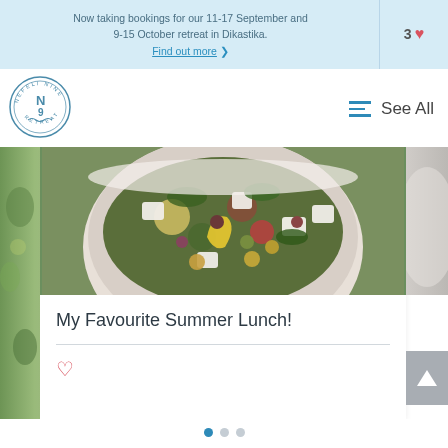Now taking bookings for our 11-17 September and 9-15 October retreat in Dikastika. Find out more ❯
3 ♥
[Figure (logo): Nefeli Nine Retreat circular logo with waves and N9]
See All
[Figure (photo): Greek salad with feta cheese, chickpeas, olives, peppers and herbs in a white bowl]
My Favourite Summer Lunch!
[Figure (other): Back to top arrow button]